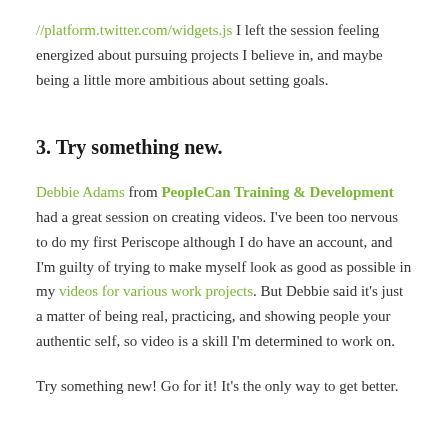//platform.twitter.com/widgets.js I left the session feeling energized about pursuing projects I believe in, and maybe being a little more ambitious about setting goals.
3. Try something new.
Debbie Adams from PeopleCan Training & Development had a great session on creating videos. I've been too nervous to do my first Periscope although I do have an account, and I'm guilty of trying to make myself look as good as possible in my videos for various work projects. But Debbie said it's just a matter of being real, practicing, and showing people your authentic self, so video is a skill I'm determined to work on.
Try something new! Go for it! It's the only way to get better.